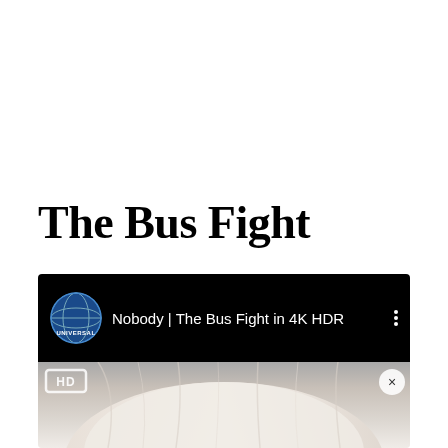The Bus Fight
[Figure (screenshot): YouTube video embed showing 'Nobody | The Bus Fight in 4K HDR' with Universal Pictures logo on a black top bar, and a thumbnail below showing a blond person's head/hair with an HD badge and X close button]